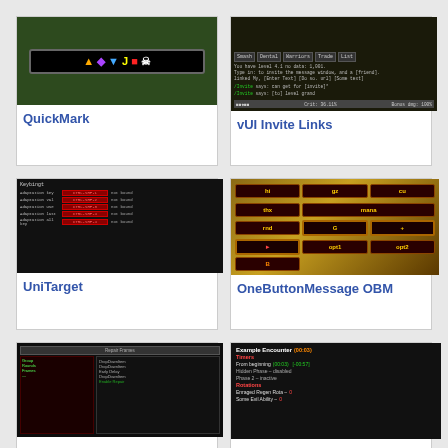[Figure (screenshot): QuickMark addon screenshot showing colored icons on green background]
QuickMark
[Figure (screenshot): vUI Invite Links addon screenshot showing invite UI panel]
vUI Invite Links
[Figure (screenshot): UniTarget addon screenshot showing keybinding configuration rows]
UniTarget
[Figure (screenshot): OneButtonMessage OBM addon screenshot showing grid of shortcut buttons: hi, gz, cu, thx, mana, rnd, G, +, opt1, opt2, B]
OneButtonMessage OBM
[Figure (screenshot): Bottom left addon screenshot showing dark UI panel]
[Figure (screenshot): Example Encounter addon screenshot showing timers and rotations: From beginning (00:03) [-00:57], Hidden Phase - disabled, Phase 2 - inactive, Rotations, Enraged Regen Rota - 0, Some Evil Ability - 0]